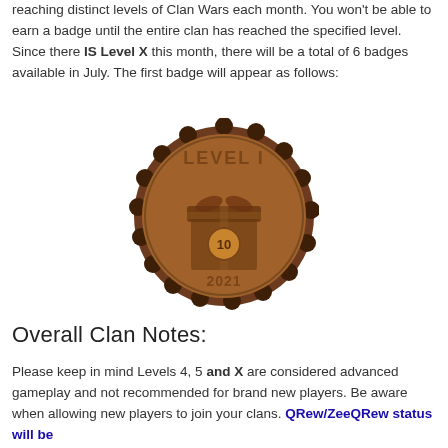reaching distinct levels of Clan Wars each month. You won't be able to earn a badge until the entire clan has reached the specified level. Since there IS Level X this month, there will be a total of 6 badges available in July. The first badge will appear as follows:
[Figure (illustration): A round brown leather-look badge with stitched scalloped edge, text 'LEVEL I' at top, a gift box icon with the number 10 in a circle, and '2021' at the bottom.]
Overall Clan Notes:
Please keep in mind Levels 4, 5 and X are considered advanced gameplay and not recommended for brand new players. Be aware when allowing new players to join your clans. QRew/ZeeQRew status will be